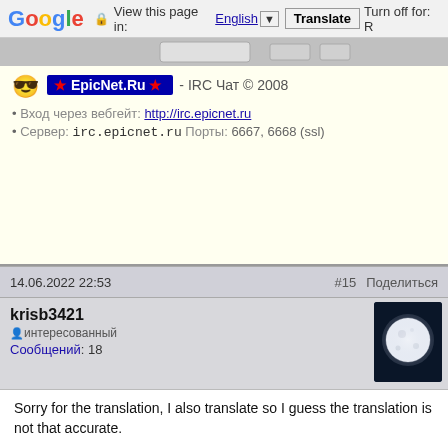Google  View this page in: English [▼]  Translate  Turn off for: R
[Figure (screenshot): Browser tab/navigation bar area (gray)]
★ EpicNet.Ru ★ - IRC Чат © 2008
• Вход через вебгейт: http://irc.epicnet.ru
• Сервер: irc.epicnet.ru  Порты: 6667, 6668 (ssl)
14.06.2022 22:53   #15   Поделиться
krisb3421
интересованный
Сообщений: 18
[Figure (photo): Moon avatar image - dark blue background with glowing moon]
Sorry for the translation, I also translate so I guess the translation is not that accurate.

However no, I have no problems with the script for now. Simply sometimes when I connect, in the windows that open, those of the